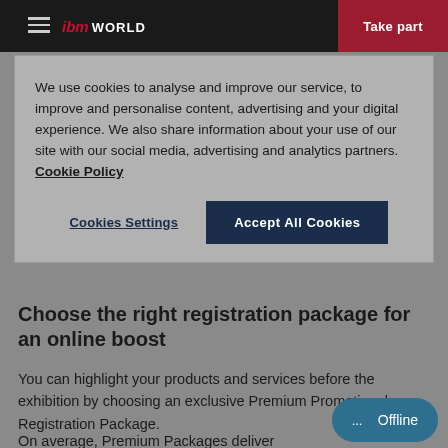ibm WORLD | Take part
We use cookies to analyse and improve our service, to improve and personalise content, advertising and your digital experience. We also share information about your use of our site with our social media, advertising and analytics partners. Cookie Policy
Cookies Settings | Accept All Cookies
Choose the right registration package for an online boost
You can highlight your products and services before the exhibition by choosing an exclusive Premium Promotional Registration Package.
On average, Premium Packages deliver more company profile, more product views and more online pre
Offline